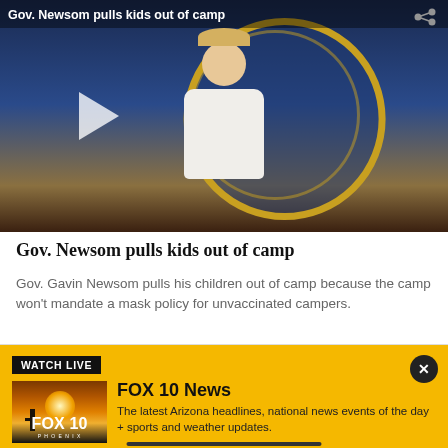[Figure (screenshot): Video thumbnail showing a woman in a white blazer standing in front of what appears to be a California state seal, with a play button overlay and a title bar at top reading 'Gov. Newsom pulls kids out of camp']
Gov. Newsom pulls kids out of camp
Gov. Gavin Newsom pulls his children out of camp because the camp won't mandate a mask policy for unvaccinated campers.
[Figure (screenshot): FOX 10 Phoenix Watch Live widget on yellow background, showing FOX 10 thumbnail image of a sunset with cactus silhouette, with text 'FOX 10 News' and description of latest Arizona headlines]
FOX 10 News
The latest Arizona headlines, national news events of the day + sports and weather updates.